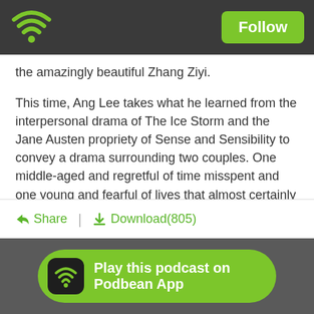[Figure (logo): Podbean wifi/podcast logo in top-left of dark header bar]
Follow
the amazingly beautiful Zhang Ziyi.
This time, Ang Lee takes what he learned from the interpersonal drama of The Ice Storm and the Jane Austen propriety of Sense and Sensibility to convey a drama surrounding two couples. One middle-aged and regretful of time misspent and one young and fearful of lives that almost certainly will not bring them what they want. And then there's fighting, glorious martial arts with weightless wire-work, choreographed by the master himself, Yuen Woo-ping.
Share | Download(805)
Play this podcast on Podbean App